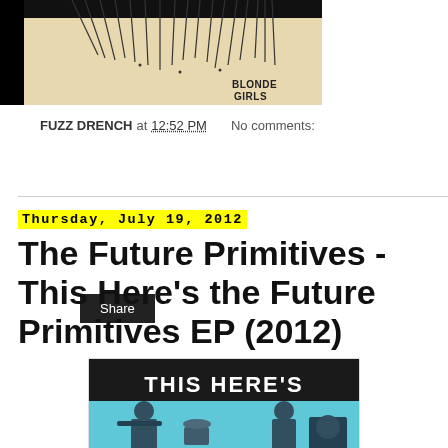[Figure (photo): Top portion of an album cover for Blonde Girls showing a spiky sunburst illustration on a tan background with black border on left side]
FUZZ DRENCH at 12:52 PM   No comments:
Share
Thursday, July 19, 2012
The Future Primitives - This Here's the Future Primitives EP (2012)
[Figure (photo): Album cover for 'This Here's the Future Primitives EP' showing white text 'THIS HERE'S' on black background above a blue-tinted photo of a band playing instruments in a rehearsal space]